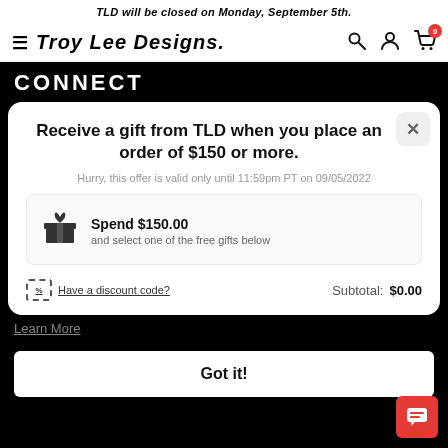TLD will be closed on Monday, September 5th.
[Figure (logo): Troy Lee Designs logo with hamburger menu, search, account, and cart icons with badge showing 0]
CONNECT
Receive a gift from TLD when you place an order of $150 or more.
Hurry, this offer is valid only until 11:59pm PT on 09/05/2022
Spend $150.00
and select one of the free gifts below
Have a discount code?
Subtotal: $0.00
Learn More
Got it!